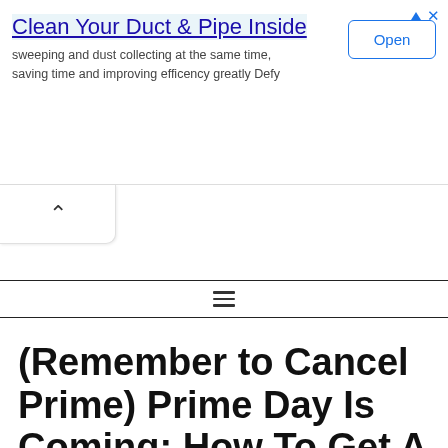[Figure (screenshot): Advertisement banner: 'Clean Your Duct & Pipe Inside' with subtitle 'sweeping and dust collecting at the same time, saving time and improving efficency greatly Defy' and an Open button. Ad icons (triangle and X) in top right corner.]
[Figure (screenshot): Back/up navigation button with a chevron-up symbol inside a rounded rectangle]
[Figure (screenshot): Hamburger menu icon (three horizontal lines) between two horizontal rules]
(Remember to Cancel Prime) Prime Day Is Coming: How To Get A